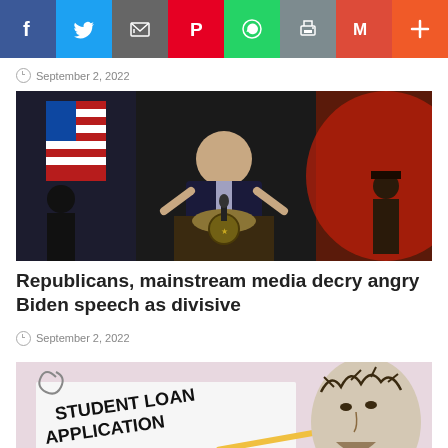[Figure (other): Social media share bar with Facebook, Twitter, Email, Pinterest, WhatsApp, Print, Gmail, and More buttons]
September 2, 2022
[Figure (photo): President Biden speaking at a podium with the Presidential seal, flanked by military guards and American flags with dramatic red lighting]
Republicans, mainstream media decry angry Biden speech as divisive
September 2, 2022
[Figure (photo): Student Loan Application document with a figure wearing a crown of thorns overlaid on the right side]